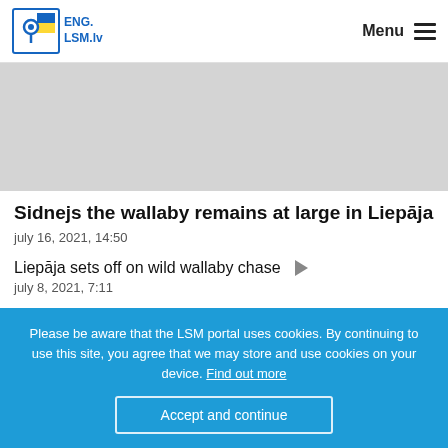ENG. LSM.lv  Menu
[Figure (photo): Gray placeholder image area at top of article]
Sidnejs the wallaby remains at large in Liepāja
july 16, 2021, 14:50
Liepāja sets off on wild wallaby chase
july 8, 2021, 7:11
Please be aware that the LSM portal uses cookies. By continuing to use this site, you agree that we may store and use cookies on your device. Find out more
Accept and continue